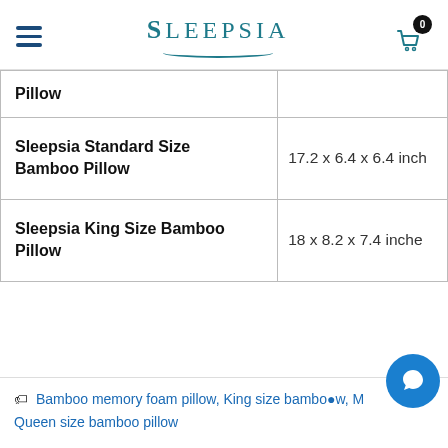Sleepsia
| Pillow |  |
| --- | --- |
| Pillow |  |
| Sleepsia Standard Size Bamboo Pillow | 17.2 x 6.4 x 6.4 inch |
| Sleepsia King Size Bamboo Pillow | 18 x 8.2 x 7.4 inches |
Bamboo memory foam pillow, King size bamboo pillow, M..., Queen size bamboo pillow